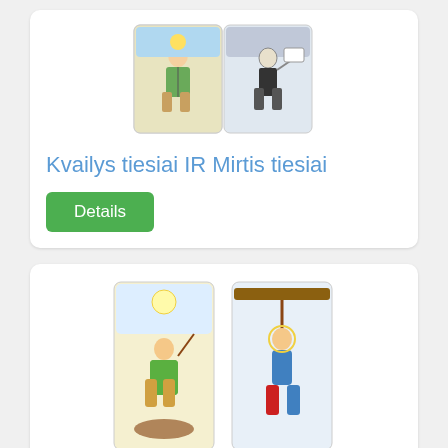[Figure (illustration): Two tarot cards overlapping: The Fool and Death cards shown upright]
Kvailys tiesiai IR Mirtis tiesiai
Details
[Figure (illustration): Two tarot cards overlapping: The Fool upright and The Hanged Man inverted]
Kvailys tiesiai IR Pakabintas žmogus tie…
Details